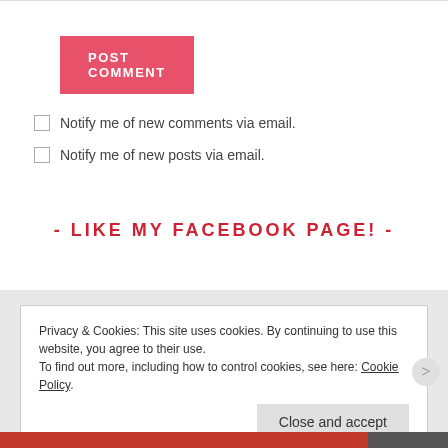POST COMMENT
Notify me of new comments via email.
Notify me of new posts via email.
- LIKE MY FACEBOOK PAGE! -
Privacy & Cookies: This site uses cookies. By continuing to use this website, you agree to their use.
To find out more, including how to control cookies, see here: Cookie Policy
Close and accept